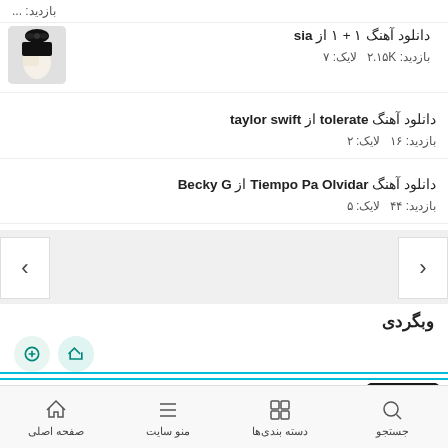دانلود آهنگ ۱ + ۱ از sia - بازدید: ۲.۱۵K  لایک: ۷
دانلود آهنگ tolerate از taylor swift - بازدید: ۱۶  لایک: ۲
دانلود آهنگ Tiempo Pa Olvidar از Becky G - بازدید: ۴۴  لایک: ۵
وبگردی
بستن
آموزش برنامه نویسی به کودکان ۹ تا ۱۷ سال|ثبت‌نام رایگان رو از دست نده
ثبت نام رایگان
صفحه اصلی  منو سایت  دسته بندی‌ها  جستجو